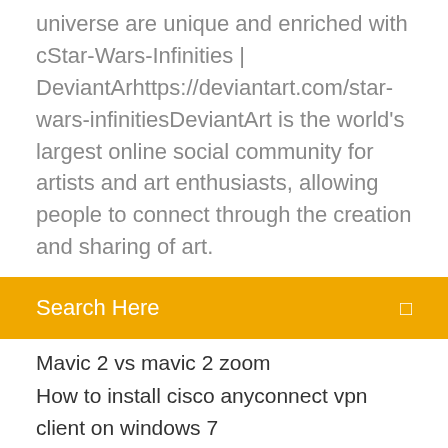universe are unique and enriched with cStar-Wars-Infinities | DeviantArhttps://deviantart.com/star-wars-infinitiesDeviantArt is the world's largest online social community for artists and art enthusiasts, allowing people to connect through the creation and sharing of art.
Search Here
Mavic 2 vs mavic 2 zoom
How to install cisco anyconnect vpn client on windows 7
Msi n1996 amd motherboard specs
Panda cloud antivirus download free full version
Port for remote desktop mac
Sony vegas pro 12 crack download 64 bit
Photo audio mixer software free download
Whatsapp on pc download windows 10
Download python 64 bit for windows 8.1
Hp laserjet p2055